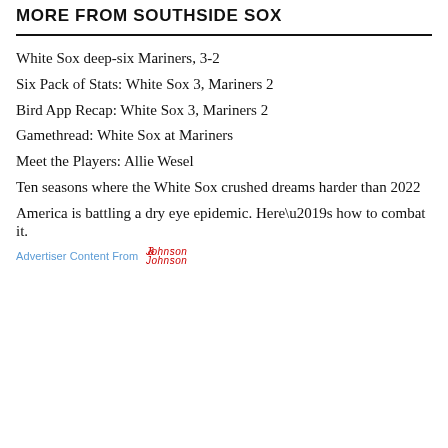MORE FROM SOUTHSIDE SOX
White Sox deep-six Mariners, 3-2
Six Pack of Stats: White Sox 3, Mariners 2
Bird App Recap: White Sox 3, Mariners 2
Gamethread: White Sox at Mariners
Meet the Players: Allie Wesel
Ten seasons where the White Sox crushed dreams harder than 2022
America is battling a dry eye epidemic. Here’s how to combat it.
Advertiser Content From Johnson & Johnson